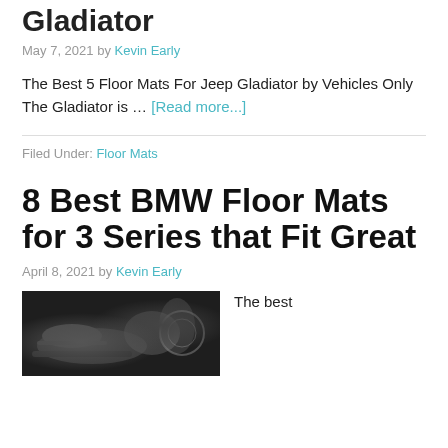Gladiator
May 7, 2021 by Kevin Early
The Best 5 Floor Mats For Jeep Gladiator by Vehicles Only The Gladiator is … [Read more...]
Filed Under: Floor Mats
8 Best BMW Floor Mats for 3 Series that Fit Great
April 8, 2021 by Kevin Early
[Figure (photo): Black and white photo of BMW floor mats inside a vehicle]
The best